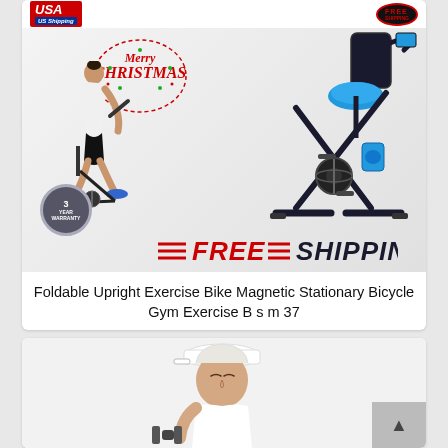[Figure (photo): Product listing image for a foldable upright exercise bike. Shows a woman riding the exercise bike, a 'Merry Christmas' decorative text circle, an image of the black exercise bike with blue seat and back support, USA/US Shipping badge top left, free shipping badge top right, 3-year warranty badge bottom left, and large red 'FREE SHIPPING' text at the bottom.]
Foldable Upright Exercise Bike Magnetic Stationary Bicycle Gym Exercise B s m 37
[Figure (photo): Product listing image showing a woman wearing a white Under Armour cap and white tank top, holding a dumbbell, partially cropped at bottom of page.]